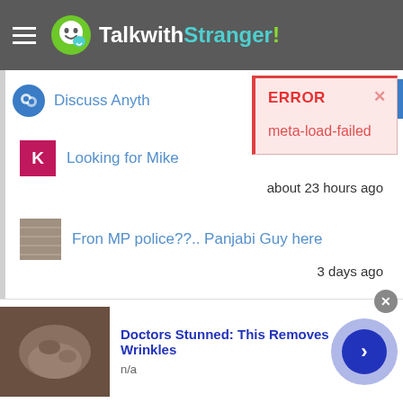TalkwithStranger!
Discuss Anyth...
[Figure (screenshot): Error modal dialog with red left border on pink background. Title: ERROR. Message: meta-load-failed. Close X button top right.]
Looking for Mike
about 23 hours ago
Fron MP police??.. Panjabi Guy here
3 days ago
View Most Voted Weekly Topics
Doctors Stunned: This Removes Wrinkles
n/a